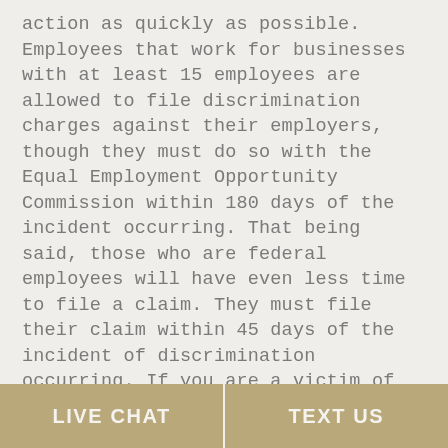action as quickly as possible. Employees that work for businesses with at least 15 employees are allowed to file discrimination charges against their employers, though they must do so with the Equal Employment Opportunity Commission within 180 days of the incident occurring. That being said, those who are federal employees will have even less time to file a claim. They must file their claim within 45 days of the incident of discrimination occurring. If you are a victim of discrimination in the workplace, the time to act is now, and our knowledgeable Georgia employment law attorney is ready to
LIVE CHAT | TEXT US